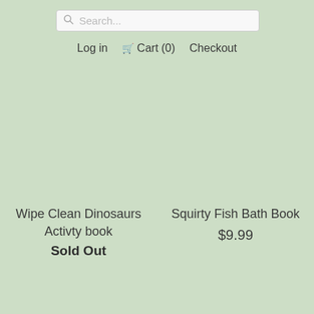Search...
Log in  Cart (0)  Checkout
Wipe Clean Dinosaurs Activty book
Sold Out
Squirty Fish Bath Book
$9.99